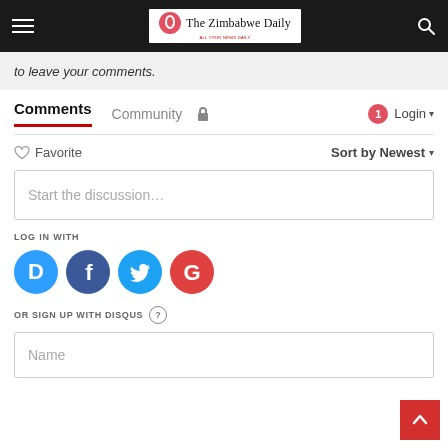The Zimbabwe Daily
to leave your comments.
Comments   Community   🔒   1   Login
♡ Favorite   Sort by Newest
Start the discussion…
LOG IN WITH
[Figure (logo): Social login icons: Disqus (blue), Facebook (dark blue), Twitter (light blue), Google (red)]
OR SIGN UP WITH DISQUS ?
Name